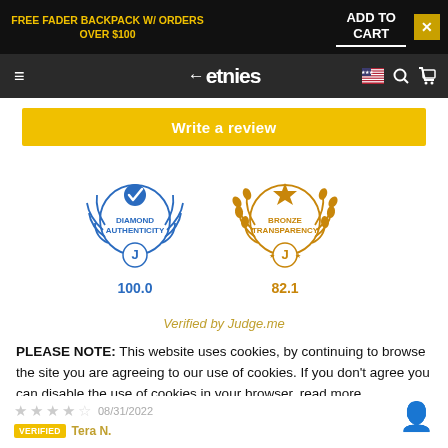FREE FADER BACKPACK W/ ORDERS OVER $100 | ADD TO CART ×
etnies navigation bar
Write a review
[Figure (logo): Diamond Authenticity badge with laurel wreath and checkmark, score 100.0]
[Figure (logo): Bronze Transparency badge with laurel wreath and star, score 82.1]
Verified by Judge.me
PLEASE NOTE: This website uses cookies, by continuing to browse the site you are agreeing to our use of cookies. If you don't agree you can disable the use of cookies in your browser, read more.
I agree
08/31/2022 VERIFIED Tera N.